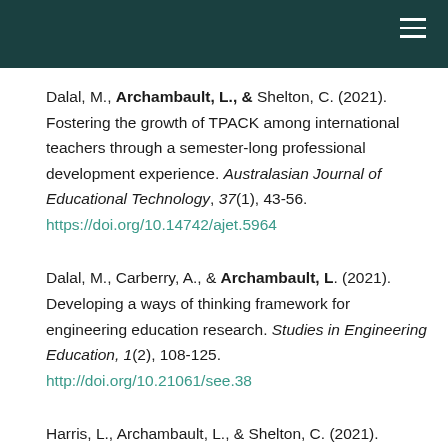Dalal, M., Archambault, L., & Shelton, C. (2021). Fostering the growth of TPACK among international teachers through a semester-long professional development experience. Australasian Journal of Educational Technology, 37(1), 43-56. https://doi.org/10.14742/ajet.5964
Dalal, M., Carberry, A., & Archambault, L. (2021). Developing a ways of thinking framework for engineering education research. Studies in Engineering Education, 1(2), 108-125. http://doi.org/10.21061/see.38
Harris, L., Archambault, L., & Shelton, C. (2021). Getting